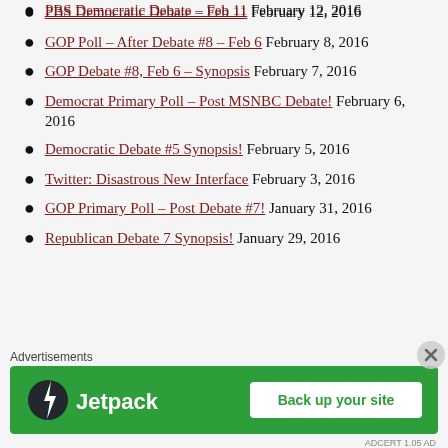PBS Democratic Debate – Feb 11 February 12, 2016
GOP Poll – After Debate #8 – Feb 6 February 8, 2016
GOP Debate #8, Feb 6 – Synopsis February 7, 2016
Democrat Primary Poll – Post MSNBC Debate! February 6, 2016
Democratic Debate #5 Synopsis! February 5, 2016
Twitter: Disastrous New Interface February 3, 2016
GOP Primary Poll – Post Debate #7! January 31, 2016
Republican Debate 7 Synopsis! January 29, 2016
[Figure (other): Jetpack advertisement banner with green background, Jetpack logo, and 'Back up your site' button]